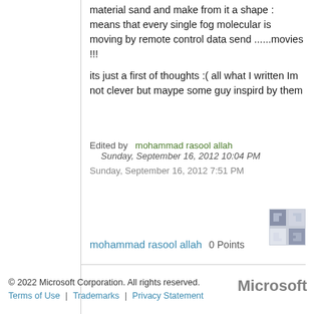material sand and make from it a shape : means that every single fog molecular is moving by remote control data send ......movies !!!
its just a first of thoughts  :( all what I written Im not clever but maype some guy inspird by them
Edited by  mohammad rasool allah
  Sunday, September 16, 2012 10:04 PM
Sunday, September 16, 2012 7:51 PM
mohammad rasool allah  0 Points
© 2022 Microsoft Corporation. All rights reserved.
Terms of Use  |  Trademarks  |  Privacy Statement